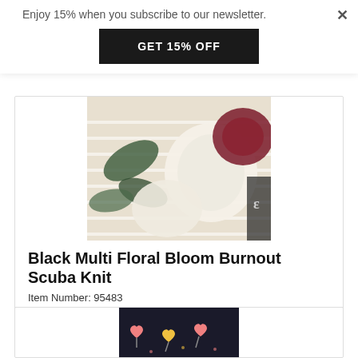Enjoy 15% when you subscribe to our newsletter.
GET 15% OFF
[Figure (photo): Close-up of floral burnout scuba knit fabric with white, green, and dark red/maroon flowers and horizontal burnout stripe pattern]
Black Multi Floral Bloom Burnout Scuba Knit
Item Number: 95483
-Printed polyester scuba knit with horizontal burnout stripes-Weight: Medium/Light-Transparency: Semi-sheer-Hand: Soft, Slick-Stretch: Slight 4 way-Drape: Good Drape-Luster: Matte-End Uses: knit tops, pants ...
$7.95 / Yard
[Figure (photo): Partial view of second fabric product showing dark background with heart-shaped candy/lollipop pattern in pink and yellow]